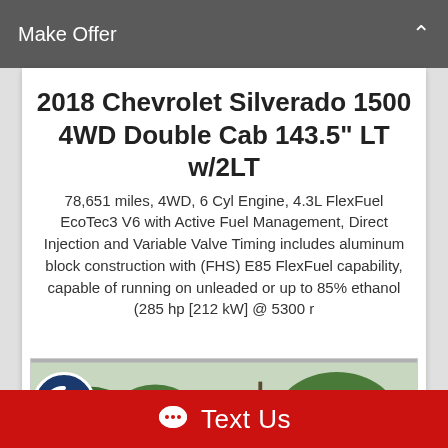Make Offer
2018 Chevrolet Silverado 1500 4WD Double Cab 143.5" LT w/2LT
78,651 miles, 4WD, 6 Cyl Engine, 4.3L FlexFuel EcoTec3 V6 with Active Fuel Management, Direct Injection and Variable Valve Timing includes aluminum block construction with (FHS) E85 FlexFuel capability, capable of running on unleaded or up to 85% ethanol (285 hp [212 kW] @ 5300 r
[Figure (photo): Red Chevrolet Silverado pickup truck parked in a car lot with trees in background]
Text Us